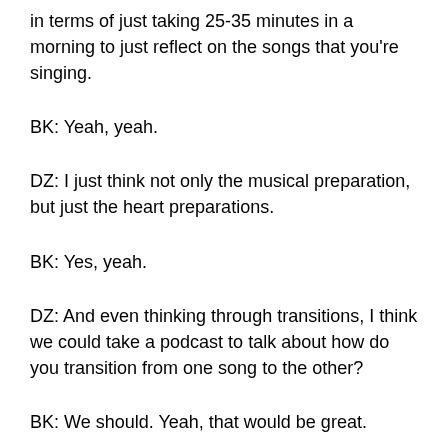in terms of just taking 25-35 minutes in a morning to just reflect on the songs that you're singing.
BK: Yeah, yeah.
DZ: I just think not only the musical preparation, but just the heart preparations.
BK: Yes, yeah.
DZ: And even thinking through transitions, I think we could take a podcast to talk about how do you transition from one song to the other?
BK: We should. Yeah, that would be great.
DZ: But just briefly, if I wanna grow as a song leader